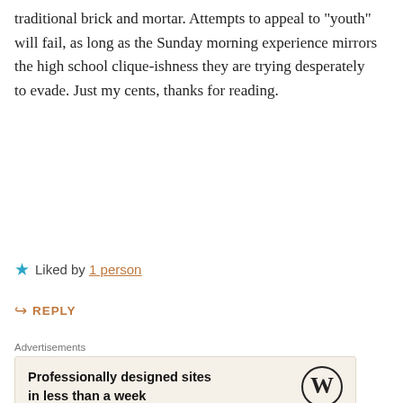traditional brick and mortar. Attempts to appeal to “youth” will fail, as long as the Sunday morning experience mirrors the high school clique-ishness they are trying desperately to evade. Just my cents, thanks for reading.
★ Liked by 1 person
↪ REPLY
Advertisements
[Figure (other): WordPress advertisement: 'Professionally designed sites in less than a week' with WordPress logo circle]
REPORT THIS AD
Advertisements
[Figure (other): WordPress VIP advertisement with 'Learn more' button and gradient background, close button in top right]